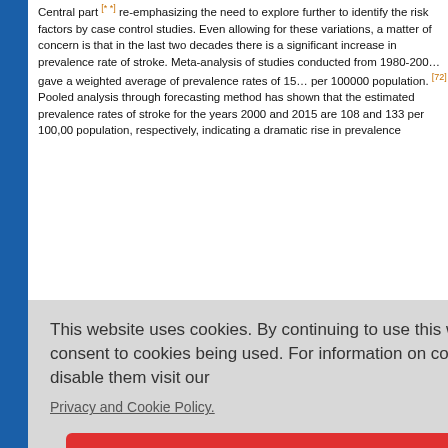Central part [* *] re-emphasizing the need to explore further to identify the risk factors by case control studies. Even allowing for these variations, a matter of concern is that in the last two decades there is a significant increase in prevalence rate of stroke. Meta-analysis of studies conducted from 1980-2000 gave a weighted average of prevalence rates of 15 per 100000 population. [72] Pooled analysis through forecasting method has shown that the estimated prevalence rates of stroke for the years 2000 and 2015 are 108 and 133 per 100,00 population, respectively, indicating a dramatic rise in prevalence by 2015 it uses of stroke milar to other...
This website uses cookies. By continuing to use this website you are giving consent to cookies being used. For information on cookies and how you can disable them visit our Privacy and Cookie Policy.
AGREE & PROCEED
Table 5: Prevalence of stroke in India: Rates per 100000 population
Click here >